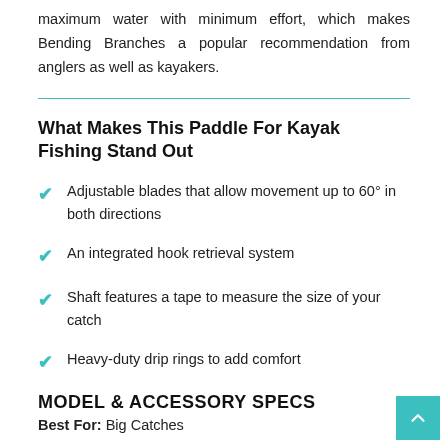maximum water with minimum effort, which makes Bending Branches a popular recommendation from anglers as well as kayakers.
What Makes This Paddle For Kayak Fishing Stand Out
Adjustable blades that allow movement up to 60° in both directions
An integrated hook retrieval system
Shaft features a tape to measure the size of your catch
Heavy-duty drip rings to add comfort
MODEL & ACCESSORY SPECS
Best For: Big Catches